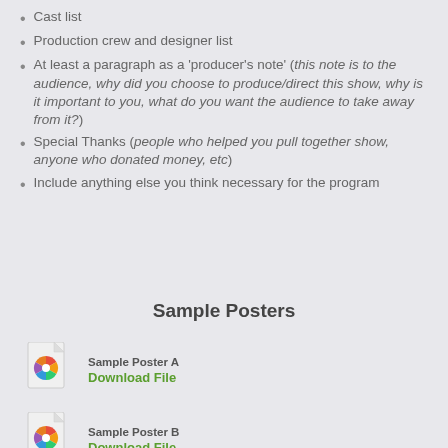Cast list
Production crew and designer list
At least a paragraph as a 'producer's note' (this note is to the audience, why did you choose to produce/direct this show, why is it important to you, what do you want the audience to take away from it?)
Special Thanks (people who helped you pull together show, anyone who donated money, etc)
Include anything else you think necessary for the program
Sample Posters
[Figure (illustration): File icon with color wheel for Sample Poster A]
Sample Poster A
Download File
[Figure (illustration): File icon with color wheel for Sample Poster B]
Sample Poster B
Download File